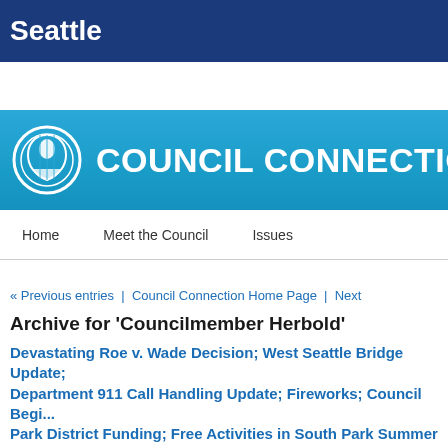Seattle
COUNCIL CONNECTION
Home | Meet the Council | Issues
« Previous entries  |  Council Connection Home Page  |  Next
Archive for 'Councilmember Herbold'
Devastating Roe v. Wade Decision; West Seattle Bridge Update; Department 911 Call Handling Update; Fireworks; Council Begins Park District Funding; Free Activities in South Park Summer of
Devastating Roe v. Wade Decision This morning's Supreme Court decision overtu... devastating to many millions of women and pregnant people who will be unable to healthcare and be forced into decisions that endanger their safety and lives. Near...